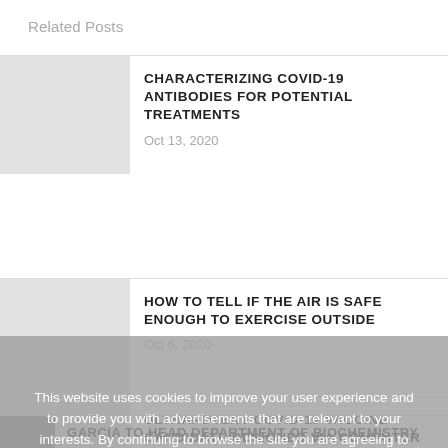Related Posts
CHARACTERIZING COVID-19 ANTIBODIES FOR POTENTIAL TREATMENTS
Oct 13, 2020
HOW TO TELL IF THE AIR IS SAFE ENOUGH TO EXERCISE OUTSIDE
Oct 6, 2020
ULTRAPOTENT COVID-19 VACCINE CANDIDATE DESIGNED VIA COMPUTER
Nov 2, 2020
This website uses cookies to improve your user experience and to provide you with advertisements that are relevant to your interests. By continuing to browse the site you are agreeing to our use of cookies.
Ok
GARCIA TO HEAD DEPARTMENT OF BIOCHEMISTRY